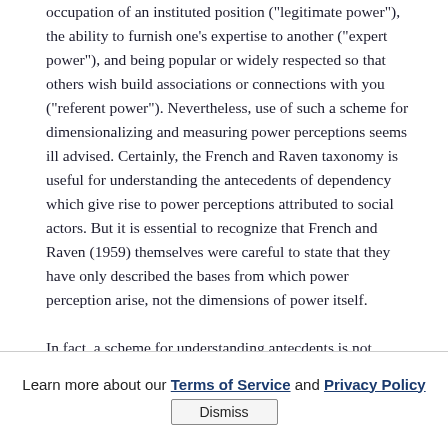occupation of an instituted position ("legitimate power"), the ability to furnish one's expertise to another ("expert power"), and being popular or widely respected so that others wish build associations or connections with you ("referent power"). Nevertheless, use of such a scheme for dimensionalizing and measuring power perceptions seems ill advised. Certainly, the French and Raven taxonomy is useful for understanding the antecedents of dependency which give rise to power perceptions attributed to social actors. But it is essential to recognize that French and Raven (1959) themselves were careful to state that they have only described the bases from which power perception arise, not the dimensions of power itself.
In fact, a scheme for understanding antecdents is not
Learn more about our Terms of Service and Privacy Policy
Dismiss